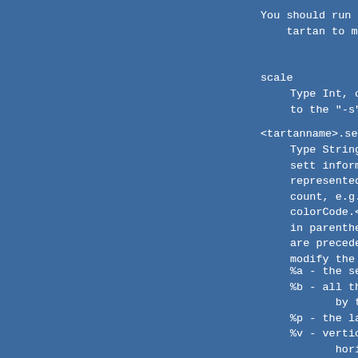You should run
    tartan to make
scale
Type Int, clas
        to the "-s" co
<tartanname>.sett
Type String, c
        sett informati
        represented by
        count, e.g. BK
        colorCode.<cod
        in parentheses
        are preceded b
        modify the int
%a - the sett
%b - all threa
        by two wh
%p - the last
%v - vertical
        horizonta
The sett patte
top.
tartan
Type String, c
    use.  Equivale